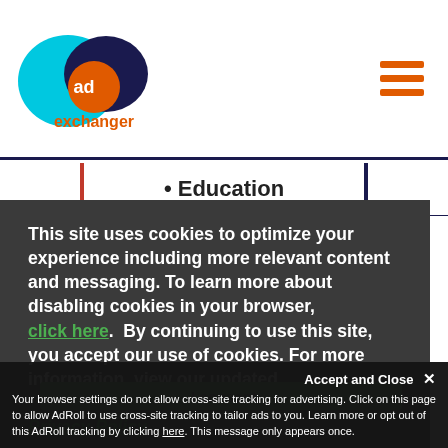[Figure (logo): AdExchanger logo with cyan oval, dark navy oval, and orange circle with 'ad' text, 'exchanger' in orange below]
[Figure (other): Hamburger menu icon (three orange horizontal bars)]
Education
This site uses cookies to optimize your experience including more relevant content and messaging. To learn more about disabling cookies in your browser, click here.  By continuing to use this site, you accept our use of cookies. For more information, view our updated Privacy Policy.
I consent
Accept and Close ✕
Your browser settings do not allow cross-site tracking for advertising. Click on this page to allow AdRoll to use cross-site tracking to tailor ads to you. Learn more or opt out of this AdRoll tracking by clicking here. This message only appears once.